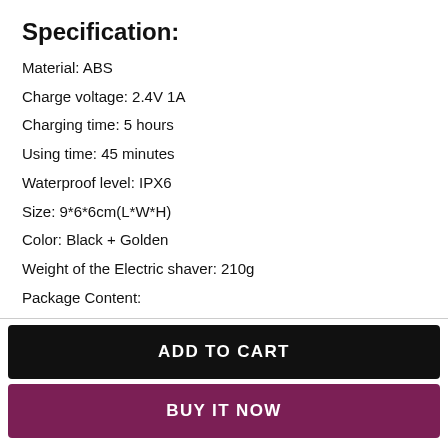Specification:
Material: ABS
Charge voltage: 2.4V 1A
Charging time: 5 hours
Using time: 45 minutes
Waterproof level: IPX6
Size: 9*6*6cm(L*W*H)
Color: Black + Golden
Weight of the Electric shaver: 210g
Package Content:
1x  USB CABLE
ADD TO CART
BUY IT NOW